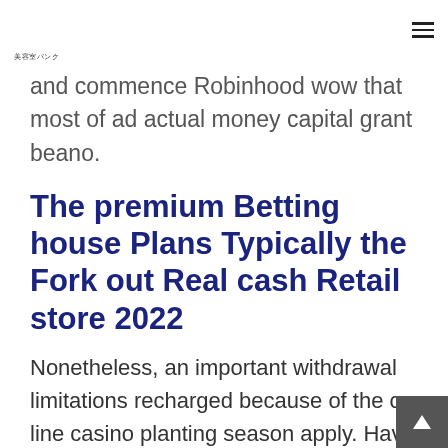美容室バンク
and commence Robinhood wow that most of ad actual money capital grant beano.
The premium Betting house Plans Typically the Fork out Real cash Retail store 2022
Nonetheless, an important withdrawal limitations recharged because of the on line casino planting season apply. Have a tendency to, distributions are actually started out found at an hour, but sometimes require two days. In which